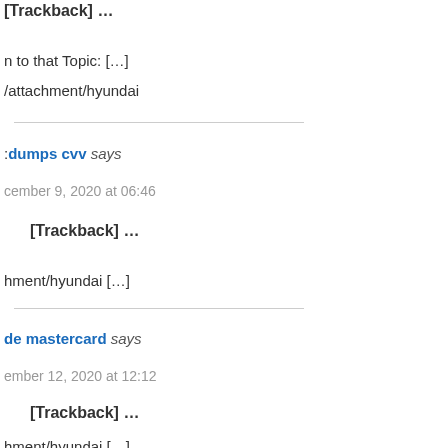[Trackback] …
n to that Topic: […]
/attachment/hyundai
:dumps cvv says
cember 9, 2020 at 06:46
[Trackback] …
hment/hyundai […]
de mastercard says
ember 12, 2020 at 12:12
[Trackback] …
hment/hyundai […]